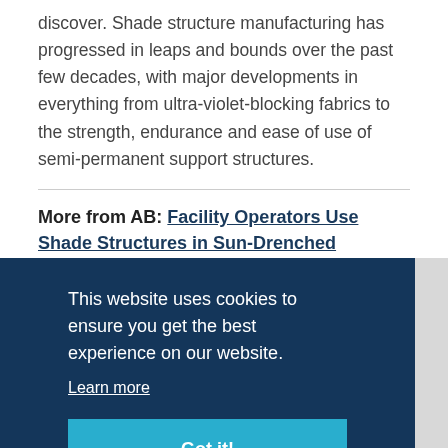discover. Shade structure manufacturing has progressed in leaps and bounds over the past few decades, with major developments in everything from ultra-violet-blocking fabrics to the strength, endurance and ease of use of semi-permanent support structures.
More from AB: Facility Operators Use Shade Structures in Sun-Drenched Summer
This website uses cookies to ensure you get the best experience on our website. Learn more
Got it!